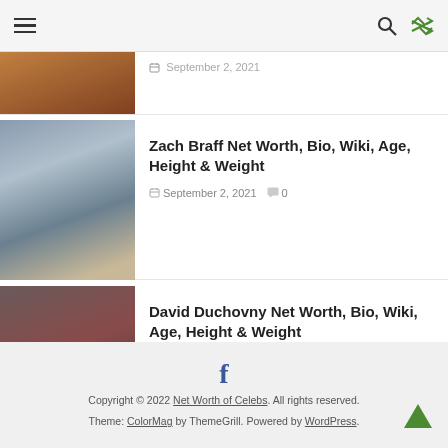Navigation header with hamburger menu, search icon, and shuffle icon
[Figure (photo): Partially visible photo at top, cropped]
Zach Braff Net Worth, Bio, Wiki, Age, Height & Weight
September 2, 2021  0
[Figure (photo): Photo of Zach Braff smiling]
David Duchovny Net Worth, Bio, Wiki, Age, Height & Weight
September 2, 2021  0
[Figure (photo): Photo of David Duchovny with Cyrillic text overlay]
Copyright © 2022 Net Worth of Celebs. All rights reserved. Theme: ColorMag by ThemeGrill. Powered by WordPress.